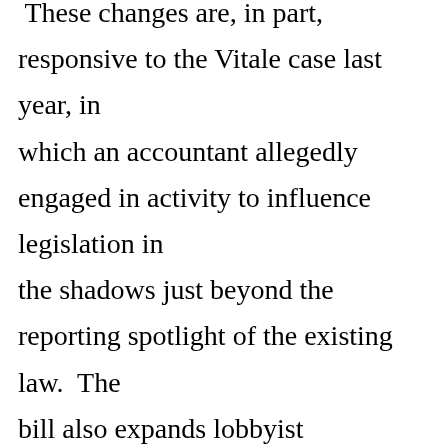These changes are, in part, responsive to the Vitale case last year, in which an accountant allegedly engaged in activity to influence legislation in the shadows just beyond the reporting spotlight of the existing law.  The bill also expands lobbyist reporting requirements and gives the Secretary of State, the office that oversees lobbying disclosures, subpoena power to force disclosure and